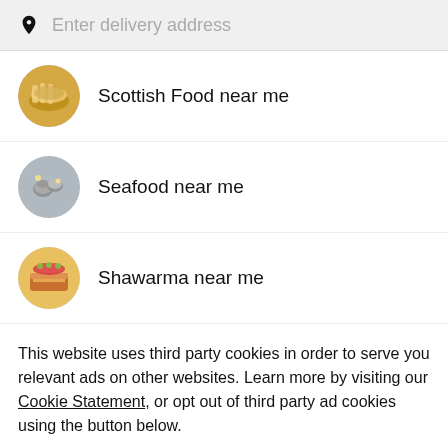[Figure (screenshot): Search bar with location pin icon and placeholder text 'Enter delivery address' on grey background]
Scottish Food near me
Seafood near me
Shawarma near me
This website uses third party cookies in order to serve you relevant ads on other websites. Learn more by visiting our Cookie Statement, or opt out of third party ad cookies using the button below.
Opt out
Got it